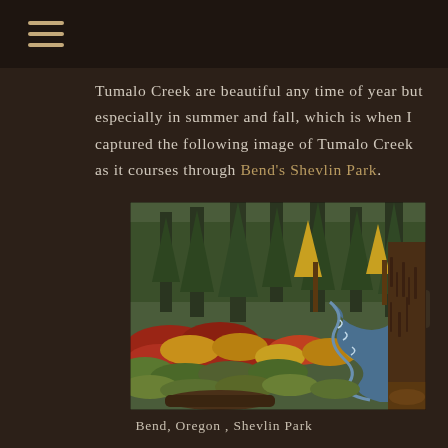☰
Tumalo Creek are beautiful any time of year but especially in summer and fall, which is when I captured the following image of Tumalo Creek as it courses through Bend's Shevlin Park.
[Figure (photo): Autumn scene of Tumalo Creek flowing through Shevlin Park in Bend, Oregon, with colorful fall foliage including red, yellow, and green shrubs, tall pine and larch trees, and a blue-green stream winding through the landscape.]
Bend, Oregon , Shevlin Park